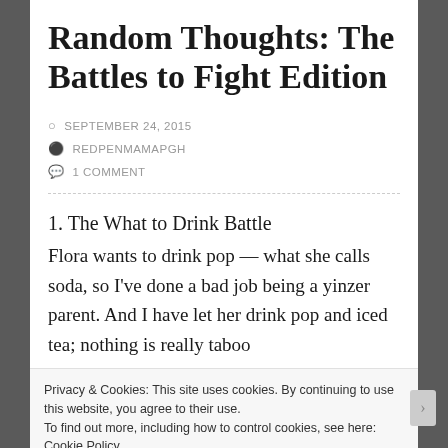Random Thoughts: The Battles to Fight Edition
SEPTEMBER 24, 2015
REDPENMAMAPGH
1 COMMENT
1. The What to Drink Battle
Flora wants to drink pop — what she calls soda, so I've done a bad job being a yinzer parent. And I have let her drink pop and iced tea; nothing is really taboo
Privacy & Cookies: This site uses cookies. By continuing to use this website, you agree to their use.
To find out more, including how to control cookies, see here: Cookie Policy
Close and accept